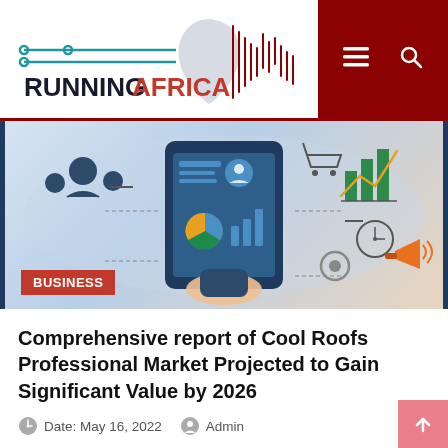RUNNINGAFRICA
[Figure (illustration): Business/digital marketing illustration showing a tablet device with analytics icons, people icons, charts, shopping cart, clock, gear, megaphone on a light background. A red 'BUSINESS' tag overlay in the bottom left corner.]
Comprehensive report of Cool Roofs Professional Market Projected to Gain Significant Value by 2026
Date: May 16, 2022   Admin
Quick Links